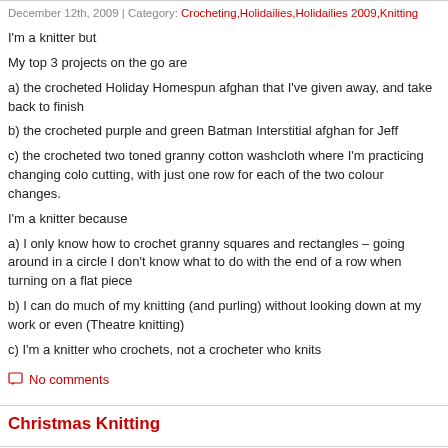December 12th, 2009 | Category: Crocheting, Holidailies, Holidailies 2009, Knitting
I'm a knitter but
My top 3 projects on the go are
a) the crocheted Holiday Homespun afghan that I've given away, and take back to finish
b) the crocheted purple and green Batman Interstitial afghan for Jeff
c) the crocheted two toned granny cotton washcloth where I'm practicing changing colo cutting, with just one row for each of the two colour changes.
I'm a knitter because
a) I only know how to crochet granny squares and rectangles – going around in a circle I don't know what to do with the end of a row when turning on a flat piece
b) I can do much of my knitting (and purling) without looking down at my work or even (Theatre knitting)
c) I'm a knitter who crochets, not a crocheter who knits
No comments
Christmas Knitting
December 10th, 2009 | Category: Holidailies, Holidailies 2009, Knitting
Yesterday I gave a mostly crocheted afghan, with the ends not woven in, and the hook a yarn in the box, as my Secret Santa gift – with the promise to finish it and get it back by this weekend. I finished off that morning sewing up the last of the seven wee tissue hol same night's small gift swap.
Tonight, at 11:30PM, I'm 3 spun into the second half of the gift that has to b